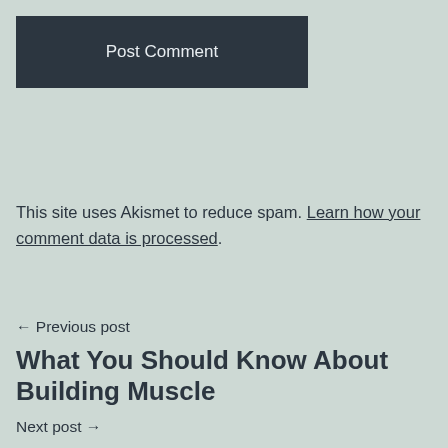Post Comment
This site uses Akismet to reduce spam. Learn how your comment data is processed.
← Previous post
What You Should Know About Building Muscle
Next post →